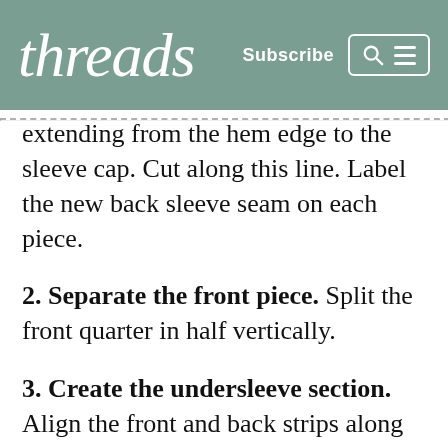threads — Subscribe
extending from the hem edge to the sleeve cap. Cut along this line. Label the new back sleeve seam on each piece.
2. Separate the front piece. Split the front quarter in half vertically.
3. Create the undersleeve section. Align the front and back strips along their underarm seams. Tape the pieces together and label the final piece “Undersleeve.” Label the larger section “Upper sleeve.”
4. Shape the elbows. On each piece, cut along the elbow line, from the back sleeve seam to the